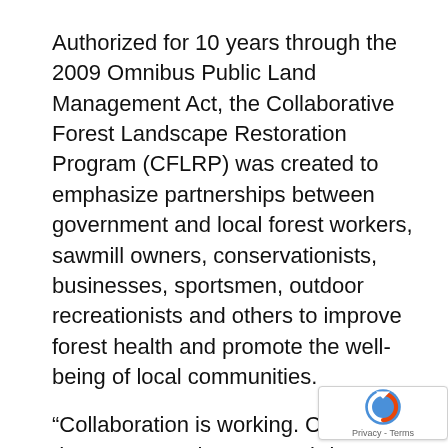Authorized for 10 years through the 2009 Omnibus Public Land Management Act, the Collaborative Forest Landscape Restoration Program (CFLRP) was created to emphasize partnerships between government and local forest workers, sawmill owners, conservationists, businesses, sportsmen, outdoor recreationists and others to improve forest health and promote the well-being of local communities.
“Collaboration is working. CFLRP demonstrates that we can bring together forest industry, environmentalists, local communities and others to produce healthier forests while producing sustainable timber supply for local mills,” sai Agriculture Under Secretary for Natural